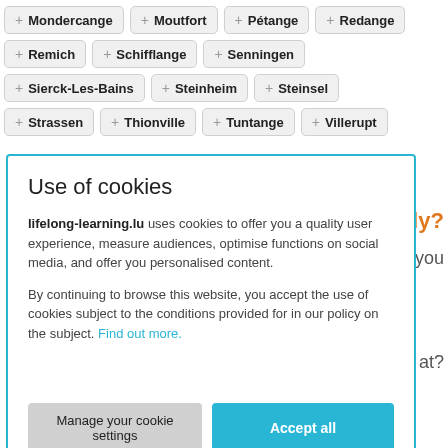+ Mondercange
+ Moutfort
+ Pétange
+ Redange
+ Remich
+ Schifflange
+ Senningen
+ Sierck-Les-Bains
+ Steinheim
+ Steinsel
+ Strassen
+ Thionville
+ Tuntange
+ Villerupt
Use of cookies
lifelong-learning.lu uses cookies to offer you a quality user experience, measure audiences, optimise functions on social media, and offer you personalised content.
By continuing to browse this website, you accept the use of cookies subject to the conditions provided for in our policy on the subject. Find out more.
Manage your cookie settings
Accept all
g body?
course you
king at?
What type of teaching do you want?